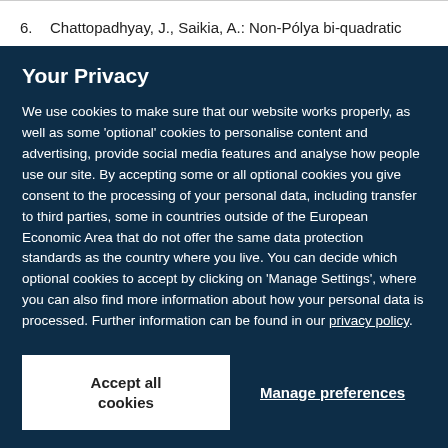6. Chattopadhyay, J., Saikia, A.: Non-Pólya bi-quadratic
Your Privacy
We use cookies to make sure that our website works properly, as well as some 'optional' cookies to personalise content and advertising, provide social media features and analyse how people use our site. By accepting some or all optional cookies you give consent to the processing of your personal data, including transfer to third parties, some in countries outside of the European Economic Area that do not offer the same data protection standards as the country where you live. You can decide which optional cookies to accept by clicking on 'Manage Settings', where you can also find more information about how your personal data is processed. Further information can be found in our privacy policy.
Accept all cookies
Manage preferences